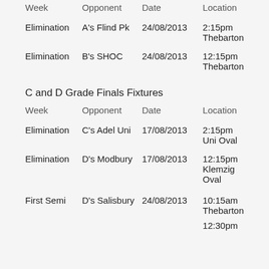| Week | Opponent | Date | Location |
| --- | --- | --- | --- |
| Elimination | A's Flind Pk | 24/08/2013 | 2:15pm Thebarton |
| Elimination | B's SHOC | 24/08/2013 | 12:15pm Thebarton |
C and D Grade Finals Fixtures
| Week | Opponent | Date | Location |
| --- | --- | --- | --- |
| Elimination | C's Adel Uni | 17/08/2013 | 2:15pm Uni Oval |
| Elimination | D's Modbury | 17/08/2013 | 12:15pm Klemzig Oval |
| First Semi | D's Salisbury | 24/08/2013 | 10:15am Thebarton |
|  |  |  | 12:30pm |